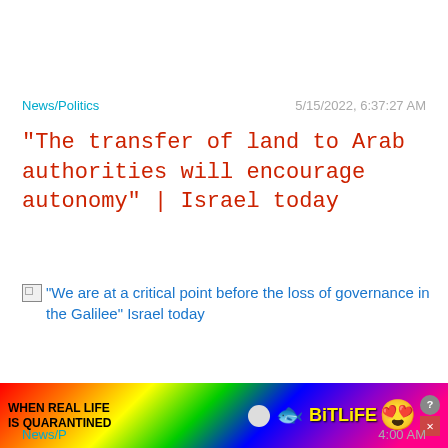News/Politics   5/15/2022, 6:37:27 AM
"The transfer of land to Arab authorities will encourage autonomy" | Israel today
[Figure (illustration): Broken image placeholder followed by link text: "We are at a critical point before the loss of governance in the Galilee" Israel today]
Close X
[Figure (infographic): BitLife advertisement banner with rainbow gradient background, text 'WHEN REAL LIFE IS QUARANTINED' and BitLife logo with emoji mascot]
News/P   4:00 AM